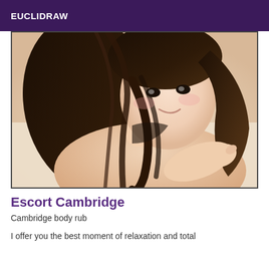EUCLIDRAW
[Figure (photo): A young woman with long dark hair lying down, smiling at the camera, on a light beige/cream surface]
Escort Cambridge
Cambridge body rub
I offer you the best moment of relaxation and total